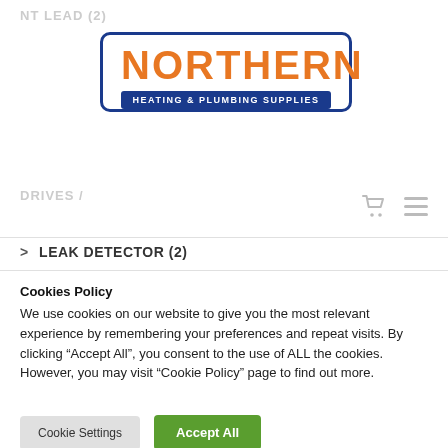NT LEAD (2)
[Figure (logo): Northern Heating & Plumbing Supplies logo with orange NORTHERN text and dark blue border and subtitle banner]
DRIVES /
> LEAK DETECTOR (2)
Cookies Policy
We use cookies on our website to give you the most relevant experience by remembering your preferences and repeat visits. By clicking "Accept All", you consent to the use of ALL the cookies. However, you may visit "Cookie Policy" page to find out more.
Cookie Settings
Accept All